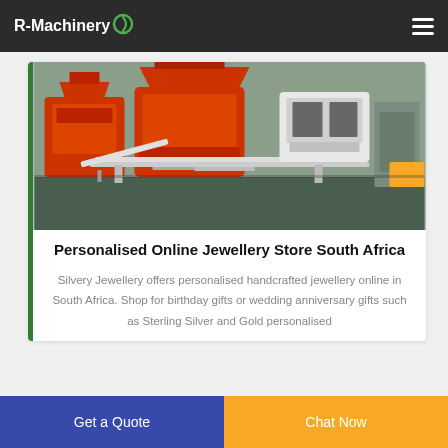R-Machinery
[Figure (photo): Industrial machinery — orange and white metal processing machine in a warehouse/factory setting]
Personalised Online Jewellery Store South Africa
Silvery Jewellery offers personalised handcrafted jewellery online in South Africa. Shop for birthday gifts or wedding anniversary gifts such as Sterling Silver and Gold personalised
Get a Quote
Chat Now